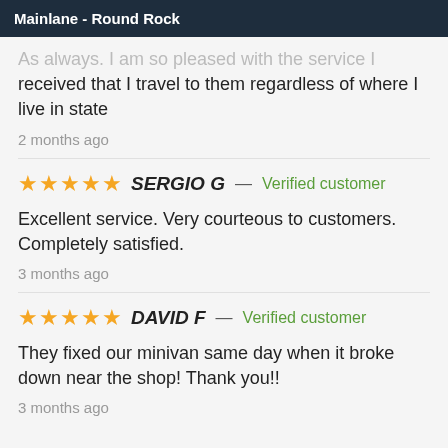Mainlane - Round Rock
As always. I am so pleased with the service I received that I travel to them regardless of where I live in state
2 months ago
★★★★★ SERGIO G — Verified customer
Excellent service. Very courteous to customers. Completely satisfied.
3 months ago
★★★★★ DAVID F — Verified customer
They fixed our minivan same day when it broke down near the shop! Thank you!!
3 months ago